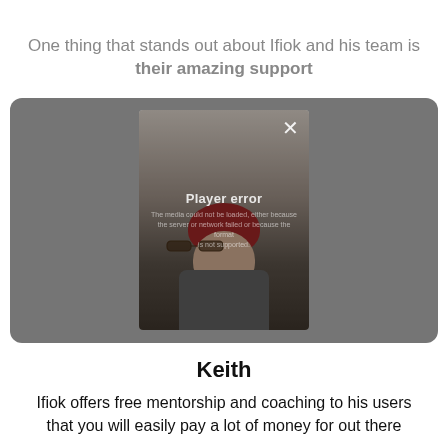One thing that stands out about Ifiok and his team is their amazing support
[Figure (screenshot): Video player with a player error overlay showing a person wearing a red beanie hat and glasses, with a gray background and a close (X) button in the top right corner.]
Keith
Ifiok offers free mentorship and coaching to his users that you will easily pay a lot of money for out there